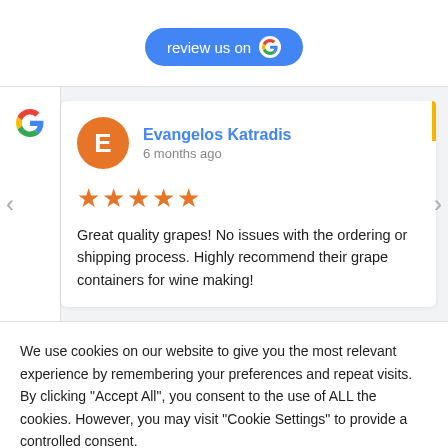[Figure (logo): Blue 'review us on Google' button with Google G logo]
[Figure (screenshot): Google review card for Evangelos Katradis, 6 months ago, 5 stars, review text: Great quality grapes! No issues with the ordering or shipping process. Highly recommend their grape containers for wine making!]
We use cookies on our website to give you the most relevant experience by remembering your preferences and repeat visits. By clicking "Accept All", you consent to the use of ALL the cookies. However, you may visit "Cookie Settings" to provide a controlled consent.
Cookie Settings
Accept All